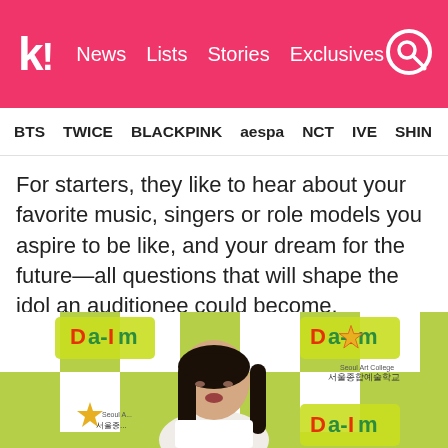k! News  Lists  Stories  Exclusives
BTS  TWICE  BLACKPINK  aespa  NCT  IVE  SHINee
For starters, they like to hear about your favorite music, singers or role models you aspire to be like, and your dream for the future—all questions that will shape the idol an auditionee could become.
[Figure (photo): Young girl speaking at an audition event with Da-Im and Seoul Art College banners in the background]